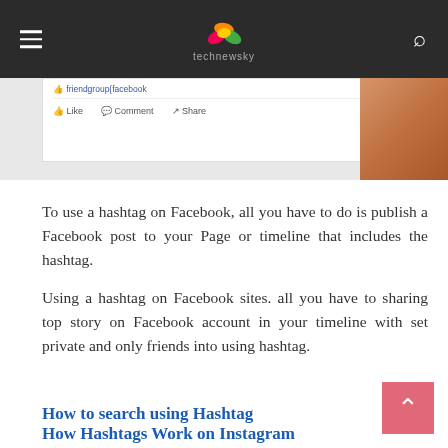technewsky
[Figure (screenshot): Partial screenshot of a Facebook post with Like, Comment, Share buttons, and a photo on the right side]
To use a hashtag on Facebook, all you have to do is publish a Facebook post to your Page or timeline that includes the hashtag.
Using a hashtag on Facebook sites. all you have to sharing top story on Facebook account in your timeline with set private and only friends into using hashtag.
How to search using Hashtag
Some simple tricks to search using #keyword or #phrasename there are two main way search on Facebook account.
How Hashtags Work on Instagram